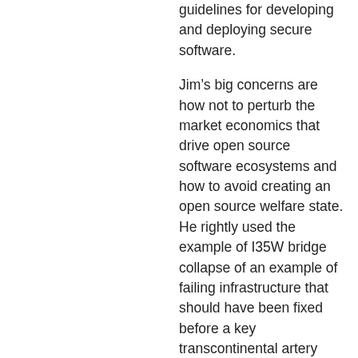guidelines for developing and deploying secure software.
Jim’s big concerns are how not to perturb the market economics that drive open source software ecosystems and how to avoid creating an open source welfare state. He rightly used the example of I35W bridge collapse of an example of failing infrastructure that should have been fixed before a key transcontinental artery collapsed. I think that’s the right idea economically.
Governments invest in infrastructure to enable economic growth. Support and investment for rights of way for railroads, deep port infrastructure, or interstate highway systems creates the transportation infrastructure that enables economic growth and free